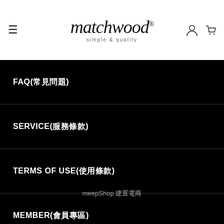matchwood® simple & quality
FAQ(常見問題)
SERVICE(服務條款)
TERMS OF USE(使用條款)
MEMBER(會員專區)
PRUCHASING(購物說明)
meepShop 建置電商